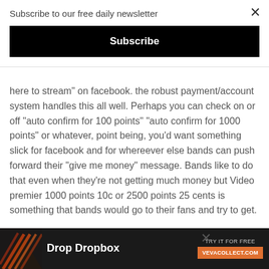Subscribe to our free daily newsletter
Subscribe
here to stream” on facebook. the robust payment/account system handles this all well. Perhaps you can check on or off “auto confirm for 100 points” “auto confirm for 1000 points” or whatever, point being, you’d want something slick for facebook and for whereever else bands can push forward their “give me money” message. Bands like to do that even when they’re not getting much money but Video premier 1000 points 10c or 2500 points 25 cents is something that bands would go to their fans and try to get.
2) the best music site ever. Having all the things it should have and be a music site itself … things like the … money tha… the
[Figure (screenshot): Advertisement banner: Drop Dropbox - Try it for free at vevacollect.com]